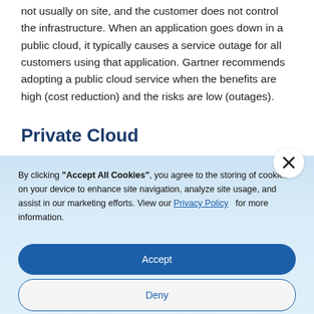not usually on site, and the customer does not control the infrastructure. When an application goes down in a public cloud, it typically causes a service outage for all customers using that application. Gartner recommends adopting a public cloud service when the benefits are high (cost reduction) and the risks are low (outages).
Private Cloud
By clicking "Accept All Cookies", you agree to the storing of cookies on your device to enhance site navigation, analyze site usage, and assist in our marketing efforts. View our Privacy Policy for more information.
Accept
Deny